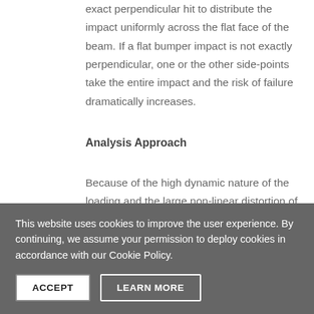exact perpendicular hit to distribute the impact uniformly across the flat face of the beam. If a flat bumper impact is not exactly perpendicular, one or the other side-points take the entire impact and the risk of failure dramatically increases.
Analysis Approach
Because of the high dynamic nature of the loading and the large non-linear distortion of the
This website uses cookies to improve the user experience. By continuing, we assume your permission to deploy cookies in accordance with our Cookie Policy.
ACCEPT
LEARN MORE